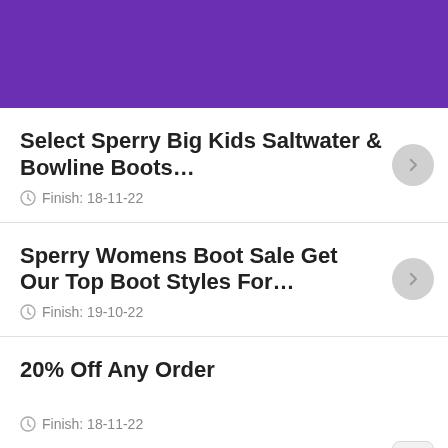[Figure (screenshot): Purple header bar at the top of a mobile app screen]
Select Sperry Big Kids Saltwater & Bowline Boots…
Finish: 18-11-22
Sperry Womens Boot Sale Get Our Top Boot Styles For…
Finish: 19-10-22
20% Off Any Order
Finish: 18-11-22